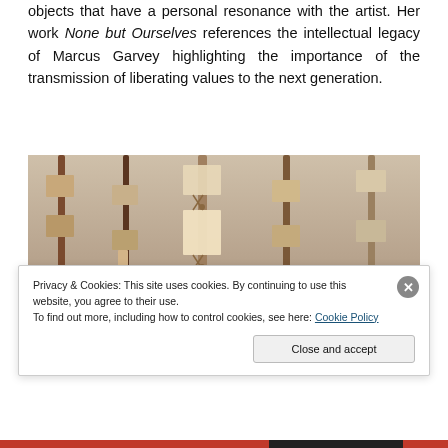objects that have a personal resonance with the artist. Her work None but Ourselves references the intellectual legacy of Marcus Garvey highlighting the importance of the transmission of liberating values to the next generation.
[Figure (photo): Hanging textile/fabric artwork strands with woven and wrapped sections, square fabric patches attached at intervals, photographed against a neutral background. The piece appears to be 'None but Ourselves' by the artist.]
Privacy & Cookies: This site uses cookies. By continuing to use this website, you agree to their use.
To find out more, including how to control cookies, see here: Cookie Policy
Close and accept